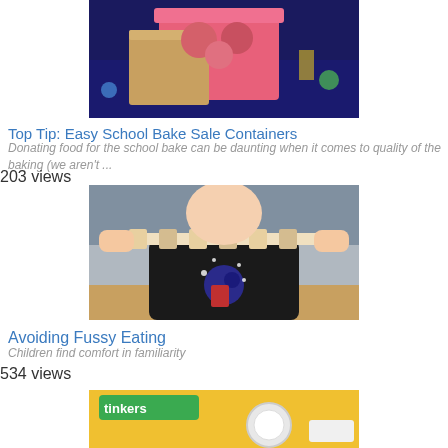[Figure (photo): Photo of baked goods in a pink box on a colorful table, seen from above]
Top Tip: Easy School Bake Sale Containers
Donating food for the school bake can be daunting when it comes to quality of the baking (we aren't ...
203 views
[Figure (photo): Photo of a child in a black space-themed shirt holding a skewer of bread pieces up to their mouth]
Avoiding Fussy Eating
Children find comfort in familiarity
534 views
[Figure (photo): Partial photo showing a colorful toy or game box labeled 'tinkers']